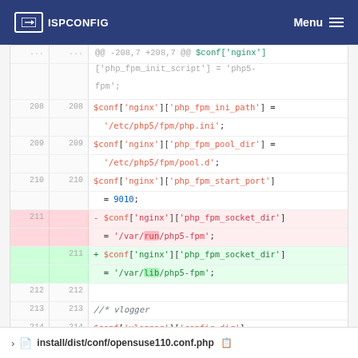ISPCONFIG  Menu
[Figure (screenshot): Code diff view showing PHP configuration file changes. Lines 208-214 showing $conf['nginx'] array assignments for php_fpm settings. Line 211 shows a removed line with '/var/run/php5-fpm' and an added line with '/var/lib/php5-fpm'.]
install/dist/conf/opensuse110.conf.php